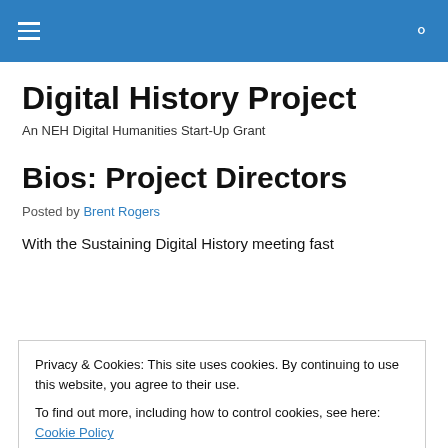Digital History Project
Digital History Project
An NEH Digital Humanities Start-Up Grant
Bios: Project Directors
Posted by Brent Rogers
With the Sustaining Digital History meeting fast
Privacy & Cookies: This site uses cookies. By continuing to use this website, you agree to their use.
To find out more, including how to control cookies, see here: Cookie Policy
Close and accept